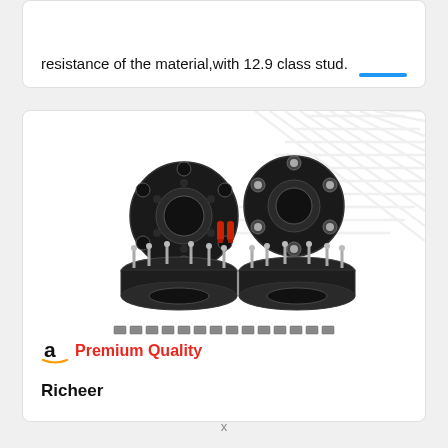resistance of the material,with 12.9 class stud.
[Figure (photo): Four black wheel spacers with silver studs, shown from different angles. Two spacers are shown face-up revealing bolt holes and center bore. Two spacers shown upright with studs protruding. Red valve stem caps visible in center. Small nuts/bolts row at bottom.]
Premium Quality
Richeer